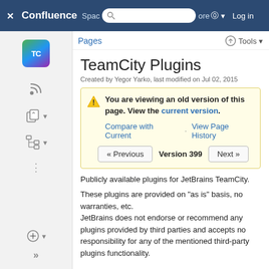Confluence — Spaces | More | Log in
Pages
TeamCity Plugins
Created by Yegor Yarko, last modified on Jul 02, 2015
You are viewing an old version of this page. View the current version.
Compare with Current · View Page History
« Previous   Version 399   Next »
Publicly available plugins for JetBrains TeamCity.
These plugins are provided on "as is" basis, no warranties, etc.
JetBrains does not endorse or recommend any plugins provided by third parties and accepts no responsibility for any of the mentioned third-party plugins functionality.